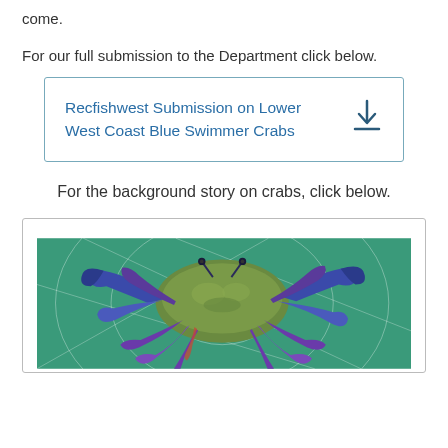come.
For our full submission to the Department click below.
Recfishwest Submission on Lower West Coast Blue Swimmer Crabs
For the background story on crabs, click below.
[Figure (photo): A blue swimmer crab on a green fishing net, viewed from above, showing its blue and purple claws and legs.]